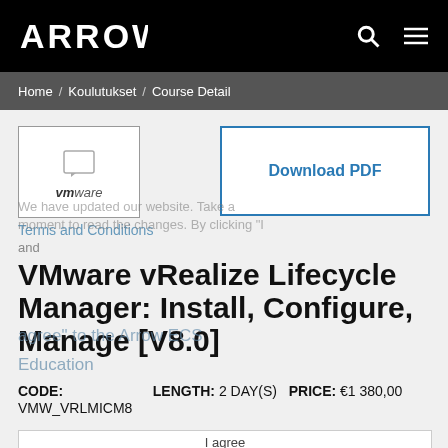ARROW  [search] [menu]
Home / Koulutukset / Course Detail
[Figure (logo): VMware logo in a bordered box with speech bubble icon above the vmware wordmark]
Download PDF
Terms and Conditions
and
VMware vRealize Lifecycle Manager: Install, Configure, Manage [V8.0]
We have updated our website. Take a moment to read the changes. By clicking "I agree" Arrow ECS Education
CODE: VMW_VRLMICM8   LENGTH: 2 DAY(S)   PRICE: €1 380,00
I agree